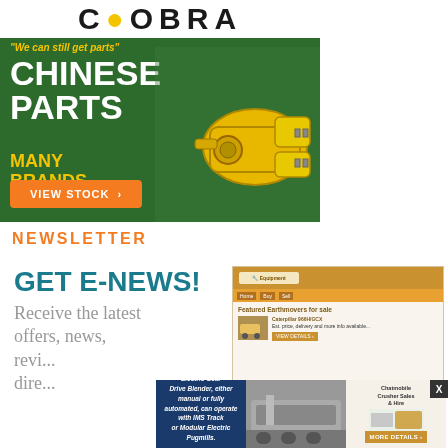[Figure (illustration): Cobra brand advertisement banner for Chinese parts. Green background with Cobra logo at top, tagline 'We can still get parts', large white text 'CHINESE PARTS', yellow text 'MANY BRANDS', orange 'VIEW STOCK' button, and yellow hydraulic pump machinery on the right.]
NEWSLETTER
[Figure (screenshot): Newsletter signup section showing 'GET E-NEWS!' in teal bold text, body text 'Receive the latest offers, news, revi... dire...' in grey, and a screenshot of an equipment listing website on the right showing 'Featured Earthmovers for sale' with Caterpillar equipment listings.]
[Figure (illustration): Overlay advertisement for IMS BP1200-0148 Mobile Electric Gear Drive Blender. Blue background with white italic text, orange CRUSHER & SCREEN SALES brand text, machinery photo in center, and MORE DETAILS button on right. X close button visible.]